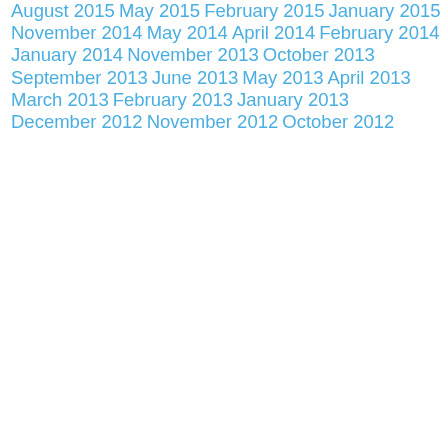August 2015
May 2015
February 2015
January 2015
November 2014
May 2014
April 2014
February 2014
January 2014
November 2013
October 2013
September 2013
June 2013
May 2013
April 2013
March 2013
February 2013
January 2013
December 2012
November 2012
October 2012